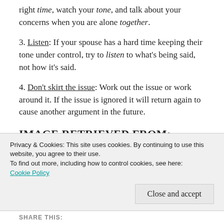right time, watch your tone, and talk about your concerns when you are alone together.
3. Listen: If your spouse has a hard time keeping their tone under control, try to listen to what's being said, not how it's said.
4. Don't skirt the issue: Work out the issue or work around it. If the issue is ignored it will return again to cause another argument in the future.
IMAGE RETRIEVED FROM:
HTTP://WWW.CURL.COM/2015/11/11/SIC...
Privacy & Cookies: This site uses cookies. By continuing to use this website, you agree to their use. To find out more, including how to control cookies, see here: Cookie Policy
Close and accept
SHARE THIS: